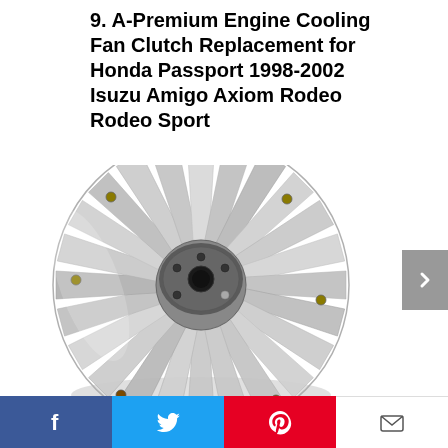9. A-Premium Engine Cooling Fan Clutch Replacement for Honda Passport 1998-2002 Isuzu Amigo Axiom Rodeo Rodeo Sport
[Figure (photo): Product photo of an A-Premium engine cooling fan clutch — a circular silver/aluminum finned clutch assembly with a dark gray center hub and mounting plate with bolt holes visible from the top.]
Facebook | Twitter | Pinterest | Email